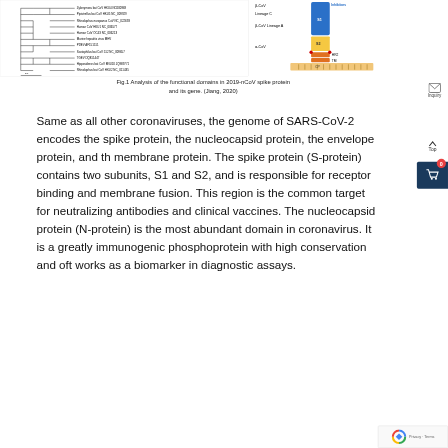[Figure (other): Phylogenetic tree of coronaviruses (left panel) and schematic diagram of 2019-nCoV spike protein functional domains showing S1, S2, HR2, TM, CP subunits with inhibitors indicated (right panel).]
Fig.1 Analysis of the functional domains in 2019-nCoV spike protein and its gene. (Jiang, 2020)
Same as all other coronaviruses, the genome of SARS-CoV-2 encodes the spike protein, the nucleocapsid protein, the envelope protein, and the membrane protein. The spike protein (S-protein) contains two subunits, S1 and S2, and is responsible for receptor binding and membrane fusion. This region is the common target for neutralizing antibodies and clinical vaccines. The nucleocapsid protein (N-protein) is the most abundant domain in coronavirus. It is a greatly immunogenic phosphoprotein with high conservation and often works as a biomarker in diagnostic assays.